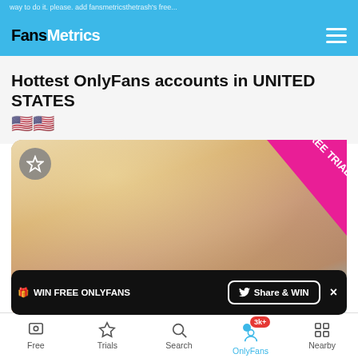way to do it. please. add fansmetricsthetrash's free...
FansMetrics
Hottest OnlyFans accounts in UNITED STATES 🇺🇸🇺🇸
[Figure (photo): Profile photo of a blonde woman with curly hair, close-up portrait. Has a pink 'FREE TRIAL' banner ribbon in the top-right corner and a star/favorite button in the top-left corner.]
🎁 WIN FREE ONLYFANS   🐦 Share & WIN   ×
Free   Trials   Search   OnlyFans 3k+   Nearby